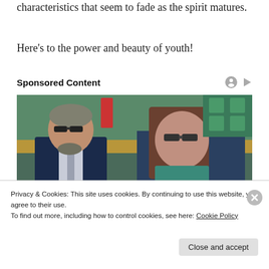characteristics that seem to fade as the spirit matures.
Here’s to the power and beauty of youth!
Sponsored Content
[Figure (photo): Two people sitting in stadium seating at what appears to be a sports event. An older man in a navy suit with a light tie and sunglasses on the left, and a young woman with long brown hair and sunglasses on the right.]
Privacy & Cookies: This site uses cookies. By continuing to use this website, you agree to their use.
To find out more, including how to control cookies, see here: Cookie Policy
Close and accept